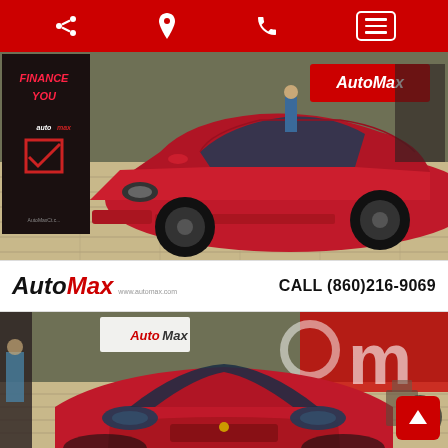AutoMax dealer app header bar with share, location, phone, and menu icons
[Figure (photo): Red Dodge Dart sedan parked inside AutoMax dealership showroom, viewed from front-left angle. AutoMax Finance You banner visible on left.]
AutoMax  www.automax.com  CALL (860)216-9069
[Figure (photo): Red Dodge Dart sedan viewed from front inside AutoMax dealership showroom, AutoMax banners visible in background.]